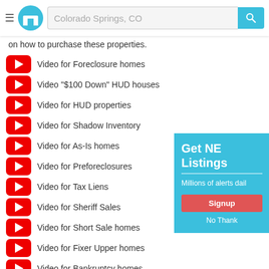Colorado Springs, CO
on how to purchase these properties.
Video for Foreclosure homes
Video "$100 Down" HUD houses
Video for HUD properties
Video for Shadow Inventory
Video for As-Is homes
Video for Preforeclosures
Video for Tax Liens
Video for Sheriff Sales
Video for Short Sale homes
Video for Fixer Upper homes
Video for Bankruptcy homes
Video for City Owned homes
Video for Rent to Own homes
[Figure (screenshot): Sidebar popup: Get NEW Listings - Millions of alerts daily - Signup button - No Thanks]